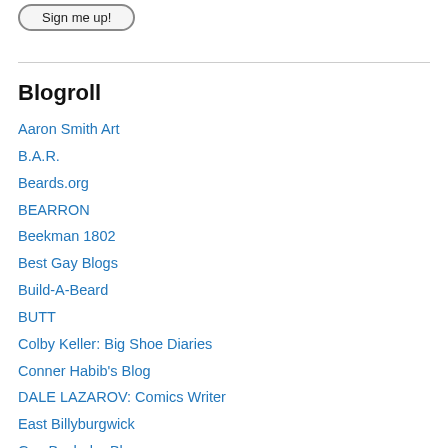[Figure (other): Sign me up! button with rounded rectangle border]
Blogroll
Aaron Smith Art
B.A.R.
Beards.org
BEARRON
Beekman 1802
Best Gay Blogs
Build-A-Beard
BUTT
Colby Keller: Big Shoe Diaries
Conner Habib's Blog
DALE LAZAROV: Comics Writer
East Billyburgwick
Gay Bachelor Blog
Grandpa-George Design